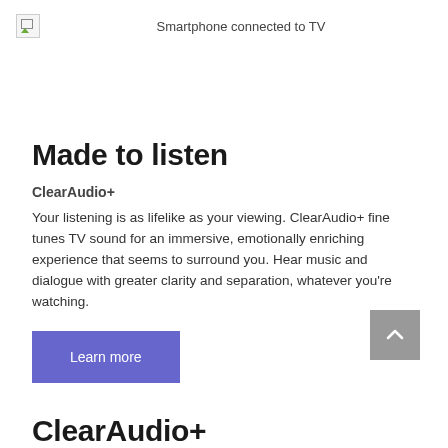[Figure (illustration): Broken image placeholder icon with green triangle, representing smartphone connected to TV image]
Smartphone connected to TV
Made to listen
ClearAudio+
Your listening is as lifelike as your viewing. ClearAudio+ fine tunes TV sound for an immersive, emotionally enriching experience that seems to surround you. Hear music and dialogue with greater clarity and separation, whatever you're watching.
[Figure (other): Blue/purple 'Learn more' button]
[Figure (other): Grey scroll-to-top button with upward chevron arrow]
ClearAudio+